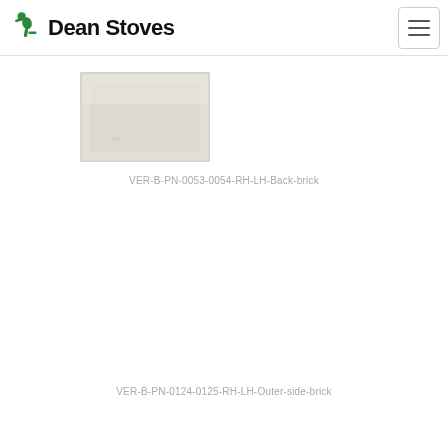Dean Stoves
[Figure (photo): A rectangular pale grey/beige firebrick panel viewed from above, slight texture visible on the surface. This is a back brick spare part for a stove.]
VER-B-PN-0053-0054-RH-LH-Back-brick
[Figure (photo): Empty/no image visible for the second product — outer side brick part.]
VER-B-PN-0124-0125-RH-LH-Outer-side-brick